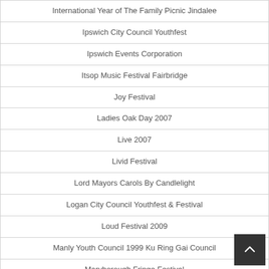| International Year of The Family Picnic Jindalee |
| Ipswich City Council Youthfest |
| Ipswich Events Corporation |
| Itsop Music Festival Fairbridge |
| Joy Festival |
| Ladies Oak Day 2007 |
| Live 2007 |
| Livid Festival |
| Lord Mayors Carols By Candlelight |
| Logan City Council Youthfest & Festival |
| Loud Festival 2009 |
| Manly Youth Council 1999 Ku Ring Gai Council |
| Maryborough Fringe Festival |
| Maryborough Show Society |
| Moo Sick Festival |